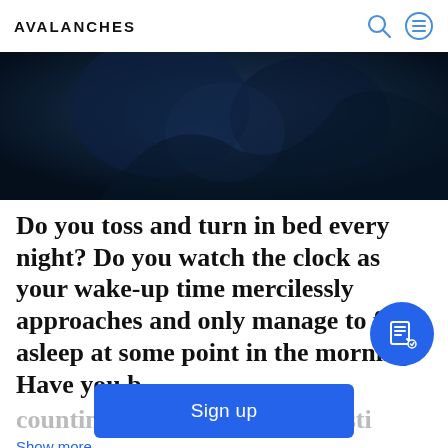AVALANCHES
[Figure (photo): Dark blue-toned hero image with shadowy abstract figures in a nighttime or dark setting]
Do you toss and turn in bed every night? Do you watch the clock as your wake-up time mercilessly approaches and only manage to fall asleep at some point in the morning? Have you b
counting sheep for hours and sti
Show more
Sign up